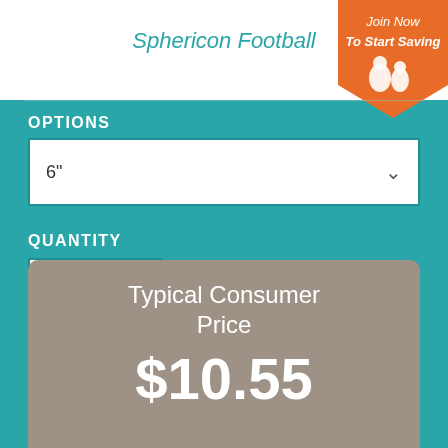Sphericon Football
[Figure (infographic): Orange badge in top right corner with text 'Join Now To Start Saving' and small pet icons]
OPTIONS
6"
QUANTITY
1
FREE DELIVERY
Typical Consumer Price
$10.55